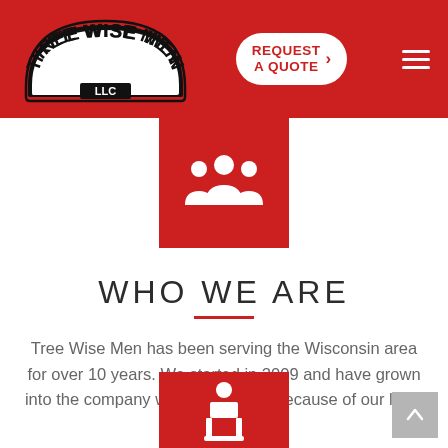Tree Wise Men LLC — REQUEST A QUOTE
[Figure (illustration): Red square with white group/people icon (three figures)]
WHO WE ARE
Tree Wise Men has been serving the Wisconsin area for over 10 years. We started in 2009 and have grown into the company we are today all because of our loyal customers!
[Figure (illustration): Red square with white organizational chart icon (person above table/structure)]